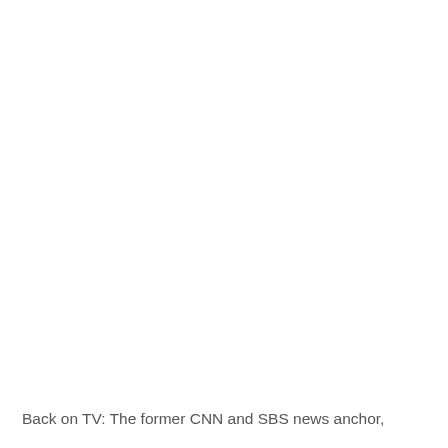Back on TV: The former CNN and SBS news anchor,